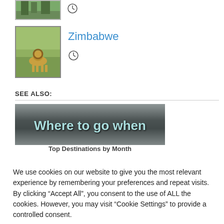[Figure (photo): Thumbnail image of a forested/natural scene, partially cropped at top of page]
[Figure (photo): Thumbnail image of a lion in a grassy savanna field, representing Zimbabwe destination]
Zimbabwe
SEE ALSO:
[Figure (infographic): Banner image with text 'Where to go when' and subtitle 'Top Destinations by Month']
We use cookies on our website to give you the most relevant experience by remembering your preferences and repeat visits. By clicking “Accept All”, you consent to the use of ALL the cookies. However, you may visit "Cookie Settings" to provide a controlled consent.